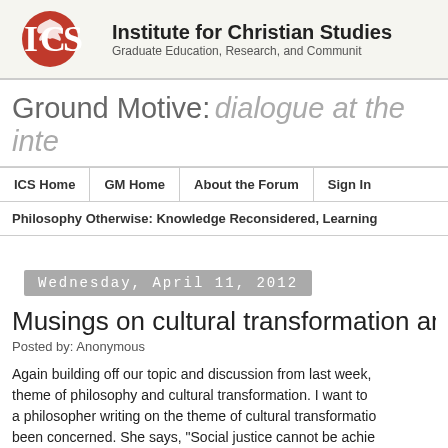[Figure (logo): ICS logo with red eagle and letters ICS, with Institute for Christian Studies header and Graduate Education, Research, and Community tagline]
Ground Motive: dialogue at the inte
ICS Home | GM Home | About the Forum | Sign In | Philosophy Otherwise: Knowledge Reconsidered, Learning
Wednesday, April 11, 2012
Musings on cultural transformation and p
Posted by: Anonymous
Again building off our topic and discussion from last week, theme of philosophy and cultural transformation. I want to a philosopher writing on the theme of cultural transformatio been concerned. She says, "Social justice cannot be achie transformation, the nature of which we can barely conscio